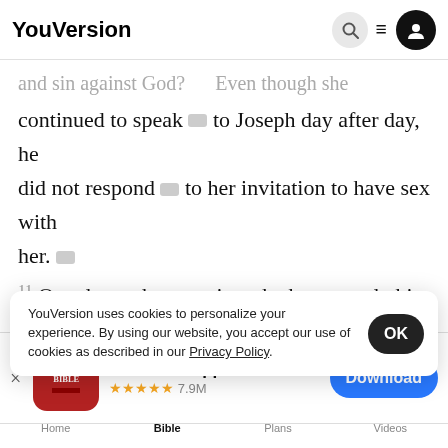YouVersion
and sin against God? Even though she continued to speak to Joseph day after day, he did not respond to her invitation to have sex with her. 11 One day he went into the house to do his
[Figure (screenshot): The Bible App download banner showing red Bible app icon, 5-star rating with 7.9M reviews, and Download button]
outer g... left his...
YouVersion uses cookies to personalize your experience. By using our website, you accept our use of cookies as described in our Privacy Policy.
Home Bible Plans Videos